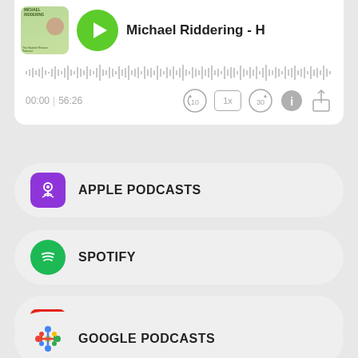[Figure (screenshot): Podcast player card showing thumbnail, play button, episode title 'Michael Riddering - H', waveform, time 00:00 | 56:26, and playback controls]
APPLE PODCASTS
SPOTIFY
YOUTUBE
GOOGLE PODCASTS